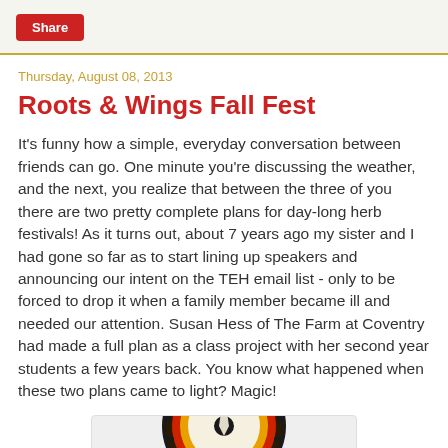Share
Thursday, August 08, 2013
Roots & Wings Fall Fest
It's funny how a simple, everyday conversation between friends can go.  One minute you're discussing the weather, and the next, you realize that between the three of you there are two pretty complete plans for day-long herb festivals!  As it turns out, about 7 years ago my sister and I had gone so far as to start lining up speakers and announcing our intent on the TEH email list - only to be forced to drop it when a family member became ill and needed our attention.  Susan Hess of The Farm at Coventry had made a full plan as a class project with her second year students a few years back.  You know what happened when these two plans came to light?  Magic!
[Figure (illustration): Partial view of a circular decorative emblem or medallion with black, red, yellow and white concentric rings and a feather-like design, shown cropped at the bottom of the page.]